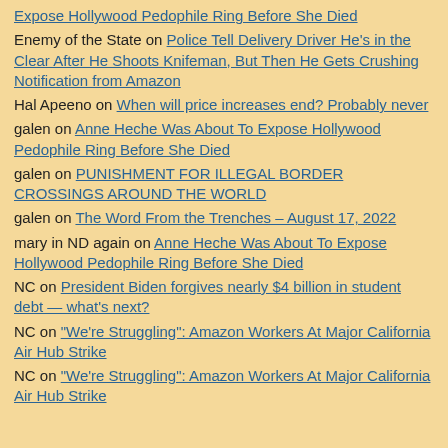Expose Hollywood Pedophile Ring Before She Died
Enemy of the State on Police Tell Delivery Driver He's in the Clear After He Shoots Knifeman, But Then He Gets Crushing Notification from Amazon
Hal Apeeno on When will price increases end? Probably never
galen on Anne Heche Was About To Expose Hollywood Pedophile Ring Before She Died
galen on PUNISHMENT FOR ILLEGAL BORDER CROSSINGS AROUND THE WORLD
galen on The Word From the Trenches – August 17, 2022
mary in ND again on Anne Heche Was About To Expose Hollywood Pedophile Ring Before She Died
NC on President Biden forgives nearly $4 billion in student debt — what's next?
NC on "We're Struggling": Amazon Workers At Major California Air Hub Strike
NC on "We're Struggling": Amazon Workers At Major California Air Hub Strike